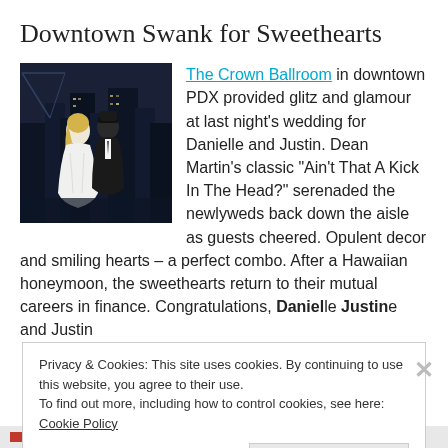Downtown Swank for Sweethearts
[Figure (photo): A couple in wedding attire standing on a rooftop at night with an urban skyline in the background. The bride is in a white strapless dress and the groom in dark clothing.]
The Crown Ballroom in downtown PDX provided glitz and glamour at last night's wedding for Danielle and Justin. Dean Martin's classic “Ain’t That A Kick In The Head?” serenaded the newlyweds back down the aisle as guests cheered. Opulent decor and smiling hearts – a perfect combo. After a Hawaiian honeymoon, the sweethearts return to their mutual careers in finance. Congratulations, Danielle Justine and Justin
Privacy & Cookies: This site uses cookies. By continuing to use this website, you agree to their use.
To find out more, including how to control cookies, see here: Cookie Policy
Close and accept